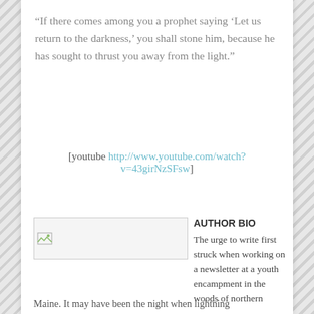“If there comes among you a prophet saying ‘Let us return to the darkness,’ you shall stone him, because he has sought to thrust you away from the light.”
[youtube http://www.youtube.com/watch?v=43girNzSFsw]
[Figure (photo): Author photo placeholder image]
AUTHOR BIO
The urge to write first struck when working on a newsletter at a youth encampment in the woods of northern Maine. It may have been the night when lightning